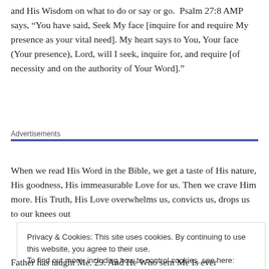and His Wisdom on what to do or say or go. Psalm 27:8 AMP says, “You have said, Seek My face [inquire for and require My presence as your vital need]. My heart says to You, Your face (Your presence), Lord, will I seek, inquire for, and require [of necessity and on the authority of Your Word].”
Advertisements
When we read His Word in the Bible, we get a taste of His nature, His goodness, His immeasurable Love for us. Then we crave Him more. His Truth, His Love overwhelms us, convicts us, drops us to our knees out
Privacy & Cookies: This site uses cookies. By continuing to use this website, you agree to their use.
To find out more, including how to control cookies, see here: Cookie Policy
Close and accept
Father has taught Me. 29. And He Who sent Me Is ever